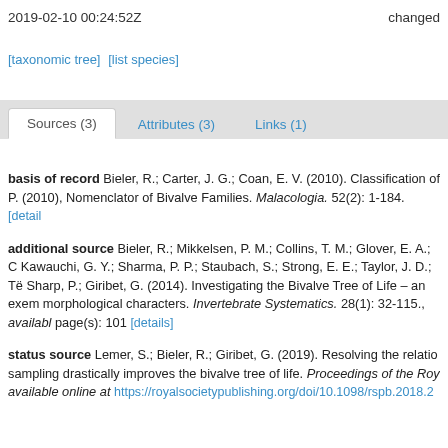2019-02-10 00:24:52Z    changed
[taxonomic tree]  [list species]
Sources (3)  Attributes (3)  Links (1)
basis of record Bieler, R.; Carter, J. G.; Coan, E. V. (2010). Classification of... P. (2010), Nomenclator of Bivalve Families. Malacologia. 52(2): 1-184. [details]
additional source Bieler, R.; Mikkelsen, P. M.; Collins, T. M.; Glover, E. A.; ... Kawauchi, G. Y.; Sharma, P. P.; Staubach, S.; Strong, E. E.; Taylor, J. D.; Tëo... Sharp, P.; Giribet, G. (2014). Investigating the Bivalve Tree of Life – an exem... morphological characters. Invertebrate Systematics. 28(1): 32-115., available... page(s): 101 [details]
status source Lemer, S.; Bieler, R.; Giribet, G. (2019). Resolving the relatio... sampling drastically improves the bivalve tree of life. Proceedings of the Roy... available online at https://royalsocietypublishing.org/doi/10.1098/rspb.2018.2...